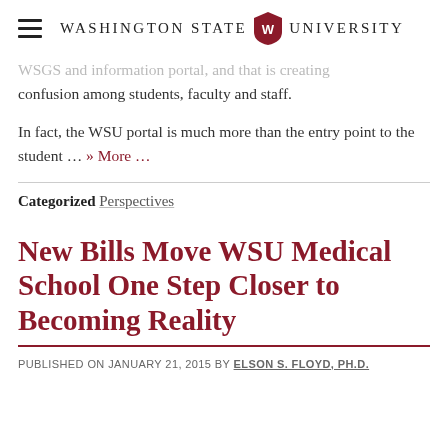Washington State University
... and that is creating confusion among students, faculty and staff.
In fact, the WSU portal is much more than the entry point to the student ... » More ...
Categorized Perspectives
New Bills Move WSU Medical School One Step Closer to Becoming Reality
PUBLISHED ON JANUARY 21, 2015 BY ELSON S. FLOYD, PH.D.